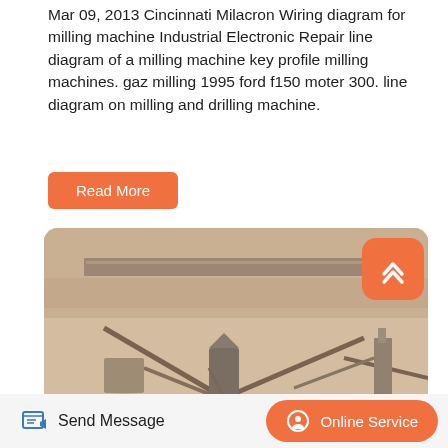Mar 09, 2013 Cincinnati Milacron Wiring diagram for milling machine Industrial Electronic Repair line diagram of a milling machine key profile milling machines. gaz milling 1995 ford f150 moter 300. line diagram on milling and drilling machine.
[Figure (other): Button labeled 'Read More' with orange background and white text]
[Figure (photo): Aerial/overhead photo of an industrial milling and mining facility with conveyor belts, silos, and machinery in an open-pit or quarry setting. Image has a washed-out, sketch-like appearance.]
[Figure (other): Orange rounded square button with white double-chevron up arrow (scroll-to-top button)]
Send Message   Online Service